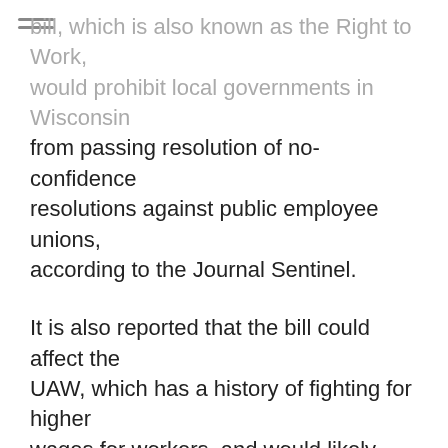...bill, which is also known as the Right to Work, would prohibit local governments in Wisconsin from passing resolution of no-confidence resolutions against public employee unions, according to the Journal Sentinel.
It is also reported that the bill could affect the UAW, which has a history of fighting for higher wages for workers, and would likely cause a huge drop in jobs in Wisconsin.
A recent poll by Marquette University shows that 63 percent of Wisconsin Republicans oppose the bill.
On Thursday, a group of local labor leaders called OUR Wisconsin announced that they have begun to circulate petitions and written letters to legislators...